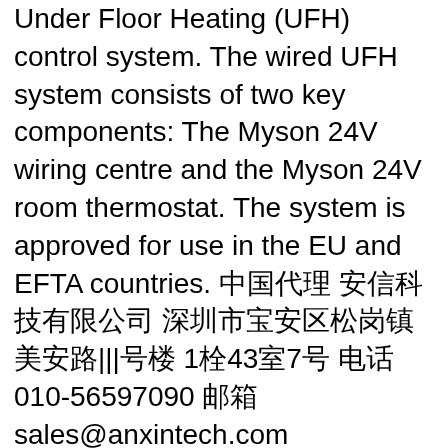Under Floor Heating (UFH) control system. The wired UFH system consists of two key components: The Myson 24V wiring centre and the Myson 24V room thermostat. The system is approved for use in the EU and EFTA countries. 中国代理 安信科技有限公司 深圳市宝安区松岗镇美安路|||号楼 1栋43室7号 电话010-56597090 邮箱 sales@anxintech.com
Course Descriptions. Information and FAQ about the General Physics courses can be found here. See PHY & PHZ Courses from Undergraduate Course Listing. Undergraduate Catalog. PHY 2020 Conceptual Physics NS (3) AS PHY No credit for Physics or Mathematics majors. A qualitative, non-mathematical